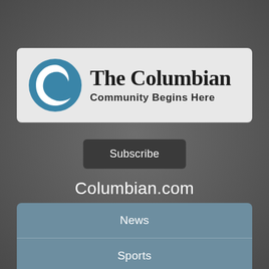[Figure (logo): The Columbian newspaper logo with blue circular C icon and text 'The Columbian Community Begins Here' on a light gray rounded rectangle background]
Subscribe
Columbian.com
News
Sports
Business